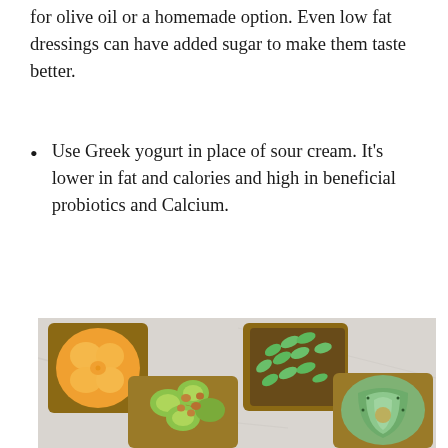for olive oil or a homemade option. Even low fat dressings can have added sugar to make them taste better.
Use Greek yogurt in place of sour cream. It's lower in fat and calories and high in beneficial probiotics and Calcium.
[Figure (photo): Overhead photo of four open-faced toasts on a marble surface: one topped with orange/clementine slices, one with snap peas, one with sliced cucumber and peanuts, one with sliced avocado and seeds. A partially visible fifth toast with tomato at bottom.]